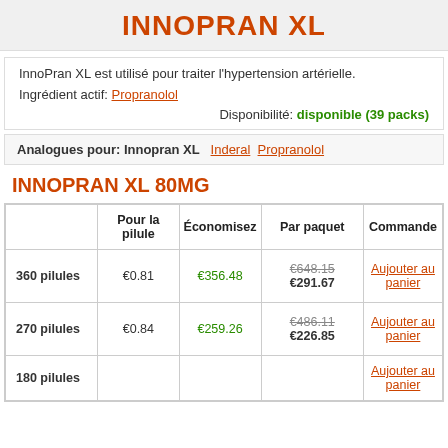INNOPRAN XL
InnoPran XL est utilisé pour traiter l'hypertension artérielle.
Ingrédient actif: Propranolol
Disponibilité: disponible (39 packs)
Analogues pour: Innopran XL   Inderal   Propranolol
INNOPRAN XL 80MG
|  | Pour la pilule | Économisez | Par paquet | Commande |
| --- | --- | --- | --- | --- |
| 360 pilules | €0.81 | €356.48 | €648.15 €291.67 | Aujouter au panier |
| 270 pilules | €0.84 | €259.26 | €486.11 €226.85 | Aujouter au panier |
| 180 pilules | €0.00 | €000.00 | €000.00 €000.00 | Aujouter au panier |